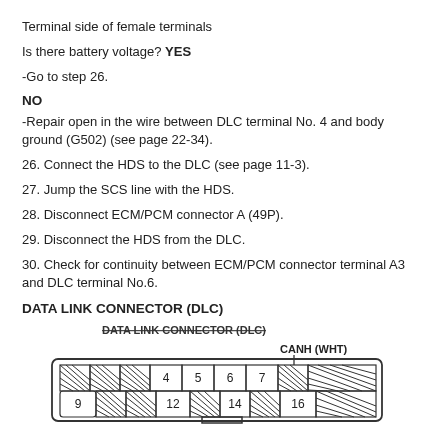Terminal side of female terminals
Is there battery voltage? YES
-Go to step 26.
NO
-Repair open in the wire between DLC terminal No. 4 and body ground (G502) (see page 22-34).
26. Connect the HDS to the DLC (see page 11-3).
27. Jump the SCS line with the HDS.
28. Disconnect ECM/PCM connector A (49P).
29. Disconnect the HDS from the DLC.
30. Check for continuity between ECM/PCM connector terminal A3 and DLC terminal No.6.
DATA LINK CONNECTOR (DLC)
[Figure (engineering-diagram): DATA LINK CONNECTOR (DLC) diagram showing connector pinout. Top row shows pins 4, 5, 6, 7 with CANH (WHT) label pointing to pin 6/7 area. Bottom row shows pins 9, 12, 14, 16. Hatched areas indicate unused/blocked positions.]